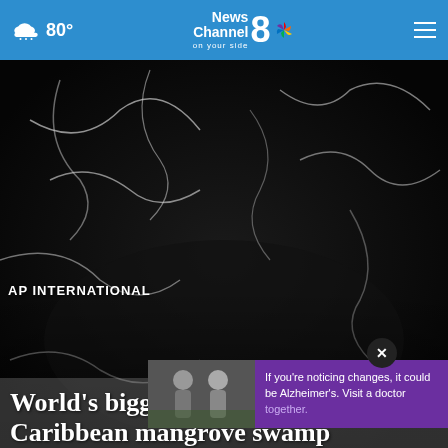News Channel 8 on your side | 80° weather
[Figure (photo): Dark microscopic image of bacteria filaments, white thread-like strands visible against a very dark background]
AP INTERNATIONAL
World's biggest bacterium found in Caribbean mangrove swamp
[Figure (photo): Advertisement overlay showing two men walking together, with purple banner reading: If you're noticing changes, it could be Alzheimer's. Visit a doctor together.]